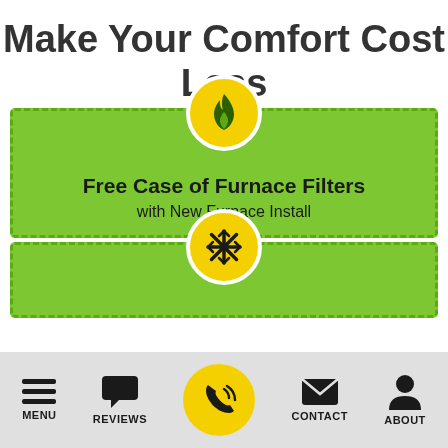Make Your Comfort Cost Less
Free Case of Furnace Filters
with New Furnace Install
[Figure (infographic): Green coupon banner with flame icon circle (yellow/gold with dark green flame) at top center, containing bold text 'Free Case of Furnace Filters' and subtitle 'with New Furnace Install'. Below is a second smaller green coupon banner with a snowflake icon circle at top center.]
MENU   REVIEWS   CONTACT   ABOUT